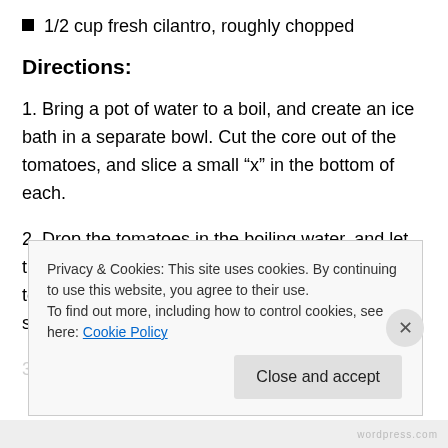1/2 cup fresh cilantro, roughly chopped
Directions:
1. Bring a pot of water to a boil, and create an ice bath in a separate bowl. Cut the core out of the tomatoes, and slice a small “x” in the bottom of each.
2. Drop the tomatoes in the boiling water, and let them sit for 30-60 seconds, or until the skin starts to split. Transfer them to the ice bath and let them soak until cooled.
3. Remove the tomatoes from the ice bath and the…
Privacy & Cookies: This site uses cookies. By continuing to use this website, you agree to their use.
To find out more, including how to control cookies, see here: Cookie Policy
Close and accept